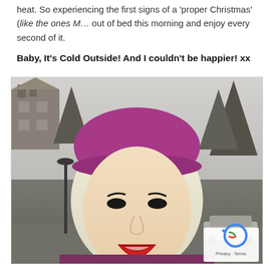heat. So experiencing the first signs of a 'proper Christmas' (like the ones M... out of bed this morning and enjoy every second of it.
Baby, It's Cold Outside! And I couldn't be happier! xx
[Figure (photo): A young blonde woman wearing a magenta/purple beret hat, smiling, photographed outdoors in winter. Background shows bare trees, a building, and a parked car. A reCAPTCHA privacy badge is overlaid in the bottom right corner.]